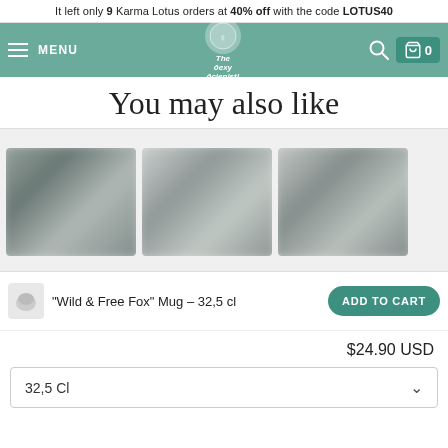It left only 9 Karma Lotus orders at 40% off with the code LOTUS40
[Figure (screenshot): Green navigation bar with hamburger menu, 'The Sexy Scientist' logo in center, search icon and cart icon on right]
You may also like
[Figure (photo): Three blurred product thumbnail images of mugs shown in a row]
"Wild & Free Fox" Mug - 32,5 cl
ADD TO CART
$24.90 USD
32,5 Cl